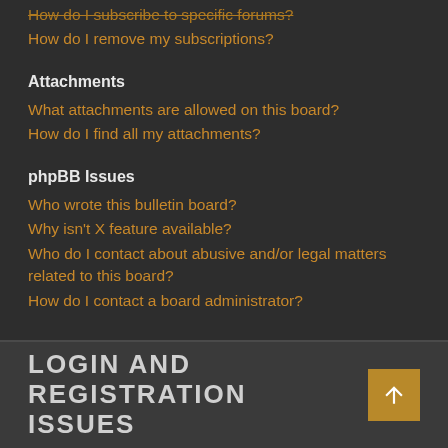How do I subscribe to specific forums?
How do I remove my subscriptions?
Attachments
What attachments are allowed on this board?
How do I find all my attachments?
phpBB Issues
Who wrote this bulletin board?
Why isn't X feature available?
Who do I contact about abusive and/or legal matters related to this board?
How do I contact a board administrator?
LOGIN AND REGISTRATION ISSUES